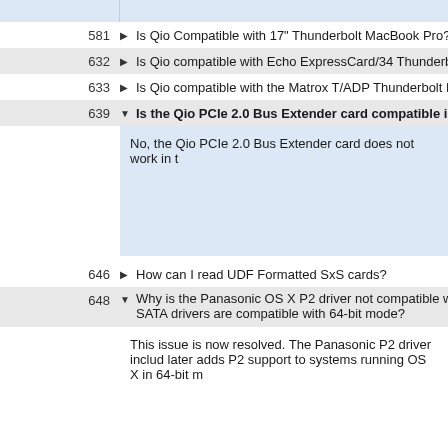581 ▶ Is Qio Compatible with 17" Thunderbolt MacBook Pro?
632 ▶ Is Qio compatible with Echo ExpressCard/34 Thunderbolt A
633 ▶ Is Qio compatible with the Matrox T/ADP Thunderbolt Port A
639 ▼ Is the Qio PCIe 2.0 Bus Extender card compatible in all
No, the Qio PCIe 2.0 Bus Extender card does not work in t
646 ▶ How can I read UDF Formatted SxS cards?
648 ▼ Why is the Panasonic OS X P2 driver not compatible with 6 SATA drivers are compatible with 64-bit mode?
This issue is now resolved. The Panasonic P2 driver includ later adds P2 support to systems running OS X in 64-bit m